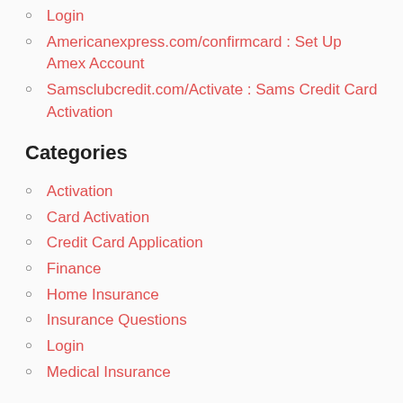Login
Americanexpress.com/confirmcard : Set Up Amex Account
Samsclubcredit.com/Activate : Sams Credit Card Activation
Categories
Activation
Card Activation
Credit Card Application
Finance
Home Insurance
Insurance Questions
Login
Medical Insurance